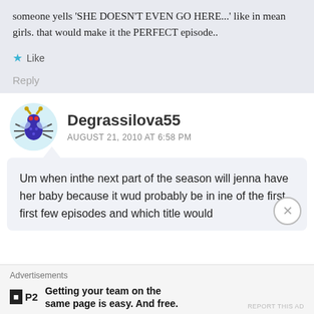someone yells 'SHE DOESN'T EVEN GO HERE...' like in mean girls. that would make it the PERFECT episode..
Like
Reply
Degrassilova55
AUGUST 21, 2010 AT 6:58 PM
Um when inthe next part of the season will jenna have her baby because it wud probably be in ine of the first first few episodes and which title would
Advertisements
Getting your team on the same page is easy. And free.